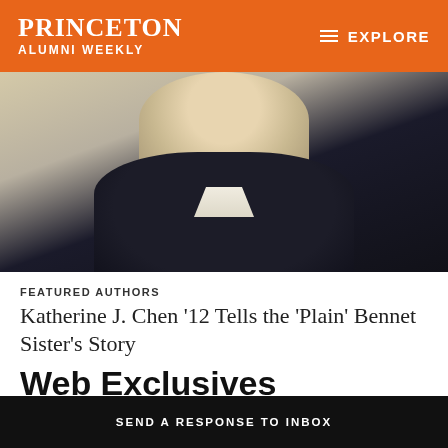PRINCETON ALUMNI WEEKLY | EXPLORE
[Figure (photo): Headshot photograph of Katherine J. Chen, wearing a dark navy/black polo shirt with white collar, against a light background]
FEATURED AUTHORS
Katherine J. Chen '12 Tells the 'Plain' Bennet Sister's Story
Web Exclusives
SEND A RESPONSE TO INBOX